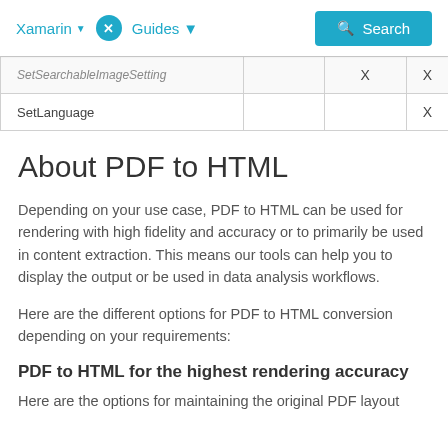Xamarin   X   Guides   Search
| SetSearchableImageSetting | X | X |
| SetLanguage |  | X |
About PDF to HTML
Depending on your use case, PDF to HTML can be used for rendering with high fidelity and accuracy or to primarily be used in content extraction. This means our tools can help you to display the output or be used in data analysis workflows.
Here are the different options for PDF to HTML conversion depending on your requirements:
PDF to HTML for the highest rendering accuracy
Here are the options for maintaining the original PDF layout